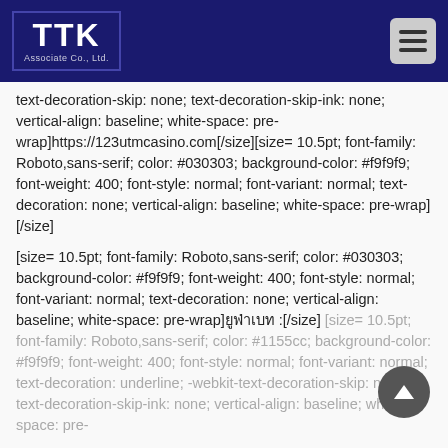TTK Associate Co., Ltd.
text-decoration-skip: none; text-decoration-skip-ink: none; vertical-align: baseline; white-space: pre-wrap]https://123utmcasino.com[/size][size= 10.5pt; font-family: Roboto,sans-serif; color: #030303; background-color: #f9f9f9; font-weight: 400; font-style: normal; font-variant: normal; text-decoration: none; vertical-align: baseline; white-space: pre-wrap][/size]
[size= 10.5pt; font-family: Roboto,sans-serif; color: #030303; background-color: #f9f9f9; font-weight: 400; font-style: normal; font-variant: normal; text-decoration: none; vertical-align: baseline; white-space: pre-wrap]ยูฟ่าเบท :[/size] [size= 10.5pt; font-family: Roboto,sans-serif; color: #1155cc; background-color: #f9f9f9; font-weight: 400; font-style: normal; font-variant: normal; text-decoration: underline; -webkit-text-decoration-skip: none; text-decoration-skip-ink: none; vertical-align: baseline; white-space: pre-